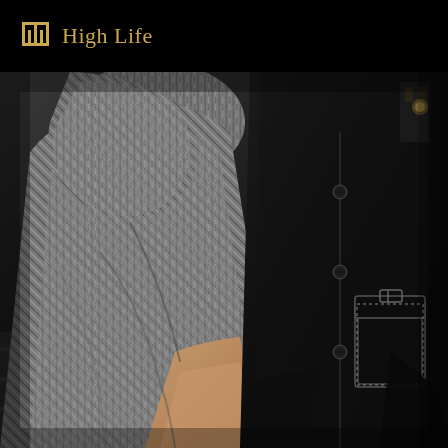[Figure (logo): High Life magazine logo with golden architectural icon and gold serif text on black background]
[Figure (photo): Fashion editorial photo showing two people wearing stylish coats — left figure wears an oversized grey herringbone wool coat with camel/tan trousers visible underneath; right figure wears a structured black coat with contrast stitching and a patch pocket. Urban stone background visible.]